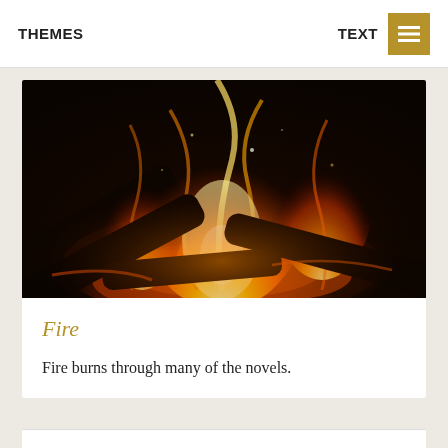THEMES    TEXT
[Figure (photo): Close-up photograph of burning wood logs with bright orange and yellow flames against a dark background, fireplace scene]
Fire
Fire burns through many of the novels.